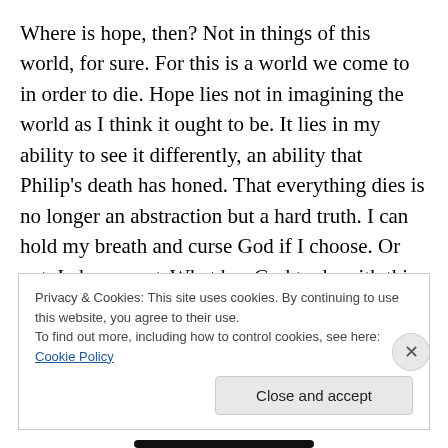Where is hope, then? Not in things of this world, for sure. For this is a world we come to in order to die. Hope lies not in imagining the world as I think it ought to be. It lies in my ability to see it differently, an ability that Philip’s death has honed. That everything dies is no longer an abstraction but a hard truth. I can hold my breath and curse God if I choose. Or not. I choose not. What has God to do with this world? If I believed in the vengeful God of my childhood, I’d say everything. But even as a kid that God made no sense to me. I never understood being told
Privacy & Cookies: This site uses cookies. By continuing to use this website, you agree to their use.
To find out more, including how to control cookies, see here: Cookie Policy